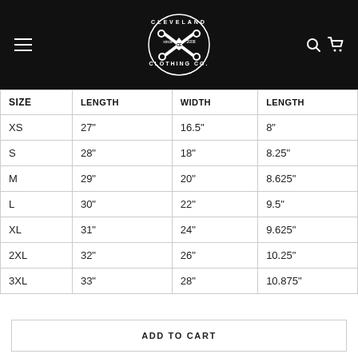[Figure (logo): Cleveland Clothing Co. circular logo with crossed bones, white on black background, in header navigation bar]
| SIZE | LENGTH | WIDTH | LENGTH |
| --- | --- | --- | --- |
| XS | 27" | 16.5" | 8" |
| S | 28" | 18" | 8.25" |
| M | 29" | 20" | 8.625" |
| L | 30" | 22" | 9.5" |
| XL | 31" | 24" | 9.625" |
| 2XL | 32" | 26" | 10.25" |
| 3XL | 33" | 28" | 10.875" |
ADD TO CART